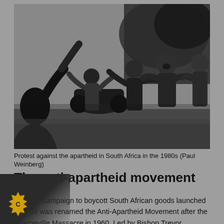[Figure (photo): Black and white photograph of protesters against apartheid in South Africa in the 1980s, showing people on a street with smoke in the background.]
Protest against the apartheid in South Africa in the 1980s (Paul Weinberg)
The anti-apartheid movement
A British campaign to boycott South African goods launched in 1959 was renamed the Anti-Apartheid Movement after the Sharpeville Massacre in 1960. Led by Bishop Trevor Huddleston, it fought successfully to cut South African sporting and academic links with the rest of the world. Joined by similar movements across the world, its campaign for economic sanctions failed to persuade most